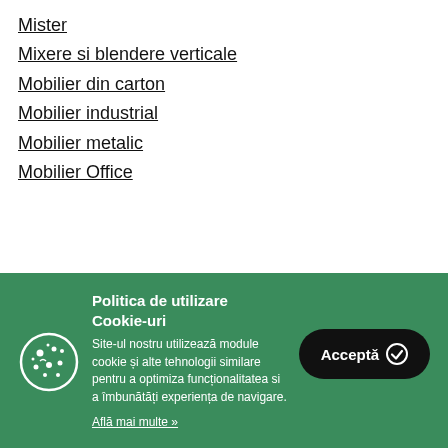Mister
Mixere si blendere verticale
Mobilier din carton
Mobilier industrial
Mobilier metalic
Mobilier Office
Politica de utilizare Cookie-uri
Site-ul nostru utilizează module cookie și alte tehnologii similare pentru a optimiza funcționalitatea si a îmbunătăți experiența de navigare.
Află mai multe »